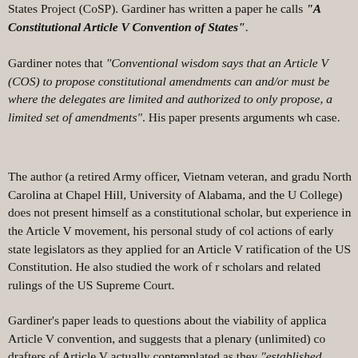States Project (CoSP). Gardiner has written a paper he calls "A Constitutional Article V Convention of States".
Gardiner notes that "Conventional wisdom says that an Article V Convention of States (COS) to propose constitutional amendments can and/or must be a limited convention where the delegates are limited and authorized to only propose, debate, and vote on a limited set of amendments". His paper presents arguments which challenge this case.
The author (a retired Army officer, Vietnam veteran, and graduate of University of North Carolina at Chapel Hill, University of Alabama, and the US Army War College) does not present himself as a constitutional scholar, but rather draws from experience in the Article V movement, his personal study of colonial history and actions of early state legislators as they applied for an Article V convention to ratification of the US Constitution. He also studied the work of numerous scholars and related rulings of the US Supreme Court.
Gardiner's paper leads to questions about the viability of applications for an Article V convention, and suggests that a plenary (unlimited) convention is what the drafters of Article V actually contemplated as they "established